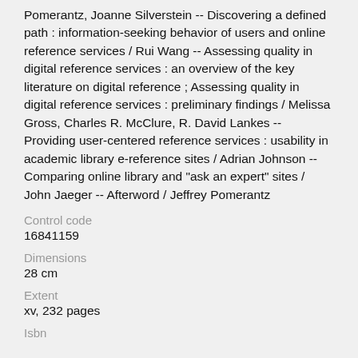Pomerantz, Joanne Silverstein -- Discovering a defined path : information-seeking behavior of users and online reference services / Rui Wang -- Assessing quality in digital reference services : an overview of the key literature on digital reference ; Assessing quality in digital reference services : preliminary findings / Melissa Gross, Charles R. McClure, R. David Lankes -- Providing user-centered reference services : usability in academic library e-reference sites / Adrian Johnson -- Comparing online library and "ask an expert" sites / John Jaeger -- Afterword / Jeffrey Pomerantz
Control code
16841159
Dimensions
28 cm
Extent
xv, 232 pages
Isbn